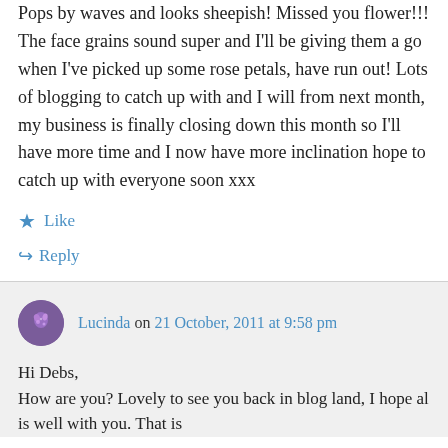Pops by waves and looks sheepish! Missed you flower!!! The face grains sound super and I'll be giving them a go when I've picked up some rose petals, have run out! Lots of blogging to catch up with and I will from next month, my business is finally closing down this month so I'll have more time and I now have more inclination hope to catch up with everyone soon xxx
★ Like
↪ Reply
Lucinda on 21 October, 2011 at 9:58 pm
Hi Debs,
How are you? Lovely to see you back in blog land, I hope all is well with you. That is